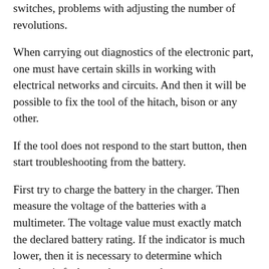switches, problems with adjusting the number of revolutions.
When carrying out diagnostics of the electronic part, one must have certain skills in working with electrical networks and circuits. And then it will be possible to fix the tool of the hitach, bison or any other.
If the tool does not respond to the start button, then start troubleshooting from the battery.
First try to charge the battery in the charger. Then measure the voltage of the batteries with a multimeter. The voltage value must exactly match the declared battery rating. If the indicator is much lower, then it is necessary to determine which element is faulty: a charger or a battery.
The charger is also checked by a tester. A multimeter is connected to the terminals of the charger and the voltage is measured at no-load. The voltage value